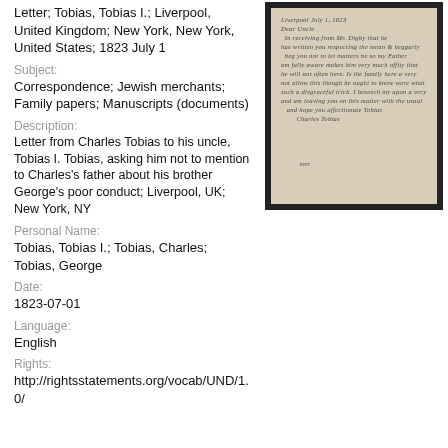Letter; Tobias, Tobias I.; Liverpool, United Kingdom; New York, New York, United States; 1823 July 1
Subject:
Correspondence; Jewish merchants; Family papers; Manuscripts (documents)
Description:
Letter from Charles Tobias to his uncle, Tobias I. Tobias, asking him not to mention to Charles's father about his brother George's poor conduct; Liverpool, UK; New York, NY
Personal Name:
Tobias, Tobias I.; Tobias, Charles; Tobias, George
Date:
1823-07-01
Language:
English
Rights:
http://rightsstatements.org/vocab/UND/1.0/
[Figure (photo): Photograph of a handwritten letter on aged paper, framed with a dark border. The handwriting is in cursive script on yellowed paper.]